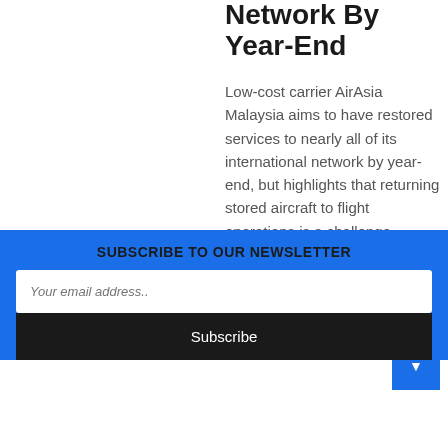Network By Year-End
Low-cost carrier AirAsia Malaysia aims to have restored services to nearly all of its international network by year-end, but highlights that returning stored aircraft to flight operations is a challenge....
Davy Lim, 15 Jun 2022 | 2 min
SUBSCRIBE TO OUR NEWSLETTER
Your email address..
Subscribe